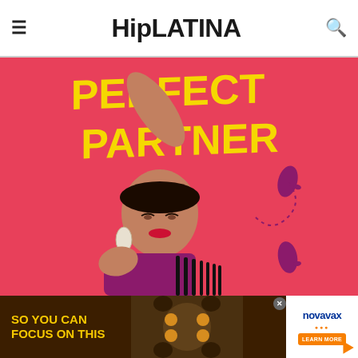HipLATINA
[Figure (illustration): Book cover illustration showing a Latina woman in a purple dress with black fringe, arm raised, wearing large hoop earrings, with yellow text reading 'PERFECT PARTNER' on a pink/coral background with dance footprint motifs]
[Figure (infographic): Advertisement banner with dark brown background, yellow text reading 'SO YOU CAN FOCUS ON THIS', with a photo of people at a dinner table viewed from above, and a Novavax branded panel with orange 'LEARN MORE' button]